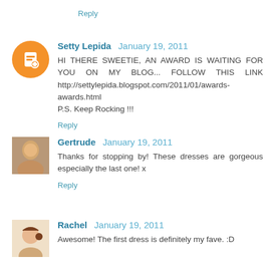Reply
Setty Lepida  January 19, 2011
HI THERE SWEETIE, AN AWARD IS WAITING FOR YOU ON MY BLOG... FOLLOW THIS LINK http://settylepida.blogspot.com/2011/01/awards-awards.html P.S. Keep Rocking !!!
Reply
Gertrude  January 19, 2011
Thanks for stopping by! These dresses are gorgeous especially the last one! x
Reply
Rachel  January 19, 2011
Awesome! The first dress is definitely my fave. :D